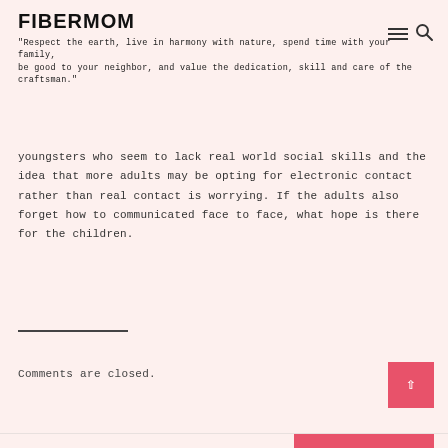FIBERMOM
"Respect the earth, live in harmony with nature, spend time with your family, be good to your neighbor, and value the dedication, skill and care of the craftsman."
youngsters who seem to lack real world social skills and the idea that more adults may be opting for electronic contact rather than real contact is worrying. If the adults also forget how to communicated face to face, what hope is there for the children.
Comments are closed.